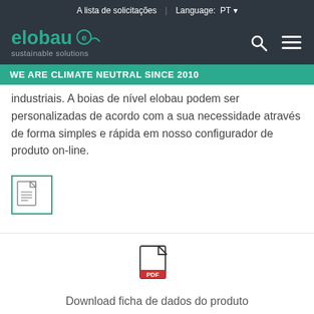A lista de solicitações  |  Language: PT
[Figure (logo): elobau sustainable solutions logo with teal text and circular e icon, search and menu icons on right]
WE ARE CLIMATE NEUTRAL SINCE 2010
industriais. A boias de nível elobau podem ser personalizadas de acordo com a sua necessidade através de forma simples e rápida em nosso configurador de produto on-line.
[Figure (screenshot): Document/file icon button with teal border, showing a document with lines icon]
[Figure (illustration): PDF file icon with PDF label]
Download ficha de dados do produto